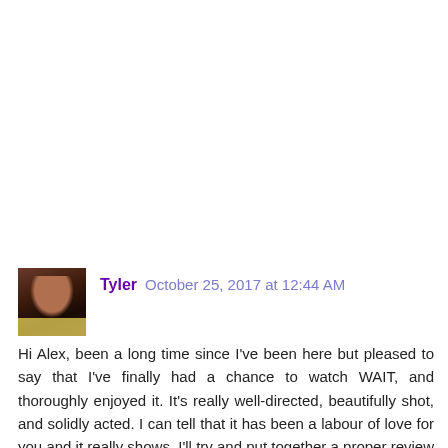[Figure (photo): Small square avatar image of a person, appears to be lit by candlelight with candles visible at the bottom]
Tyler  October 25, 2017 at 12:44 AM
Hi Alex, been a long time since I've been here but pleased to say that I've finally had a chance to watch WAIT, and thoroughly enjoyed it. It's really well-directed, beautifully shot, and solidly acted. I can tell that it has been a labour of love for you and it really shows. I'll try and put together a proper review on Letterboxd but need to give it some time to digest first, and will probably give it another viewing. It's really awesome to see the progression from Earrings (which I loved) to this, and I'm really excited to see where you go next. You have been and continue to be an absolute inspiration to us all, dude. Keep on doing what you're